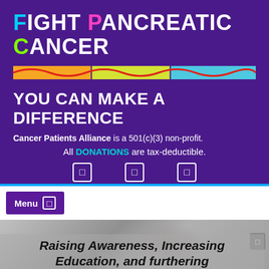[Figure (logo): Fight Pancreatic Cancer banner with colored letters F (cyan), P (pink), C (green), decorative wavy ribbon in orange/yellow/green/teal/blue, tagline YOU CAN MAKE A DIFFERENCE, Cancer Patients Alliance 501(c)(3) non-profit text, DONATIONS highlighted in teal, social media icon buttons, on dark purple background]
Menu
[Figure (photo): Grayscale photo of a person, partially visible, used as hero image background]
Raising Awareness, Increasing Education, and furthering